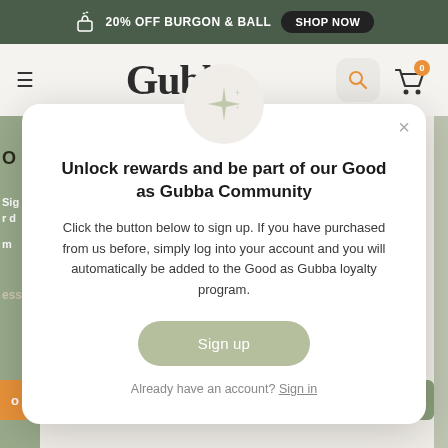20% OFF BURGON & BALL  SHOP NOW
[Figure (screenshot): Gubba website navigation bar with hamburger menu, Gubba logo, search icon, and cart icon showing 0 items]
[Figure (infographic): Modal popup with sparkle icon, title 'Unlock rewards and be part of our Good as Gubba Community', body text about signing up, Sign up button, and Sign in link]
Unlock rewards and be part of our Good as Gubba Community
Click the button below to sign up. If you have purchased from us before, simply log into your account and you will automatically be added to the Good as Gubba loyalty program.
Sign up
Already have an account? Sign in